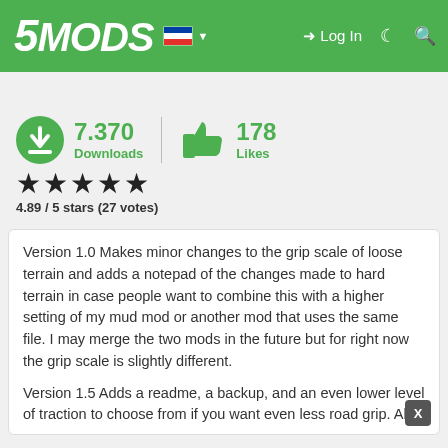5MODS | Log In
7.370 Downloads | 178 Likes
4.89 / 5 stars (27 votes)
Version 1.0 Makes minor changes to the grip scale of loose terrain and adds a notepad of the changes made to hard terrain in case people want to combine this with a higher setting of my mud mod or another mod that uses the same file. I may merge the two mods in the future but for right now the grip scale is slightly different.
Version 1.5 Adds a readme, a backup, and an even lower level of traction to choose from if you want even less road grip. Also